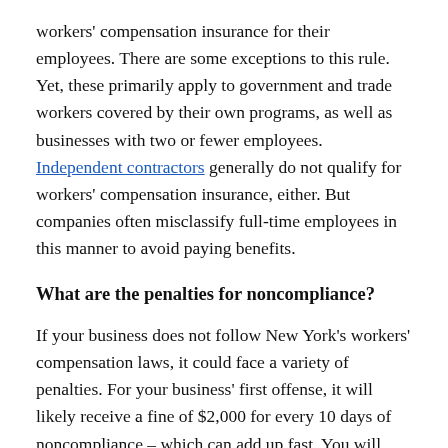workers' compensation insurance for their employees. There are some exceptions to this rule. Yet, these primarily apply to government and trade workers covered by their own programs, as well as businesses with two or fewer employees. Independent contractors generally do not qualify for workers' compensation insurance, either. But companies often misclassify full-time employees in this manner to avoid paying benefits.
What are the penalties for noncompliance?
If your business does not follow New York's workers' compensation laws, it could face a variety of penalties. For your business' first offense, it will likely receive a fine of $2,000 for every 10 days of noncompliance – which can add up fast. You will also receive the same fine for misclassifying employees as independent contractors. Further or more serious offenses could cause your business to receive misdemeanor charges